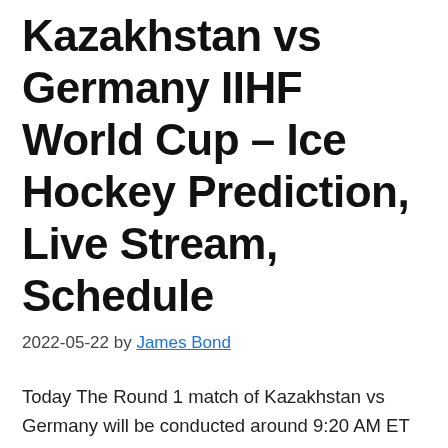Kazakhstan vs Germany IIHF World Cup – Ice Hockey Prediction, Live Stream, Schedule
2022-05-22 by James Bond
Today The Round 1 match of Kazakhstan vs Germany will be conducted around 9:20 AM ET at the Helsinki Ice Hall, Helsinki, Finland. Check the complete Schedule, Prize money, and Live IIHF ICE HOCKEY WORLD CHAMPIONSHIP match details here. The match will be conducted at the Helsinki Ice